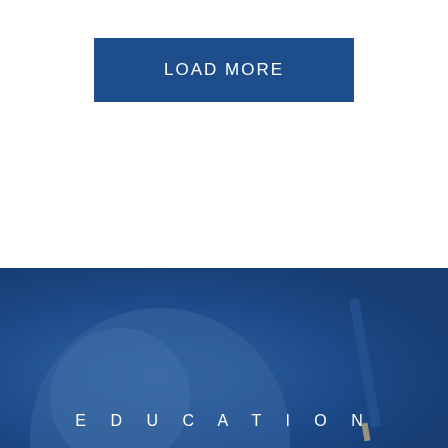LOAD MORE
[Figure (photo): Blue toned background image suggesting an education theme, with abstract rounded shapes and what appears to be a pencil or writing implement visible]
EDUCATION